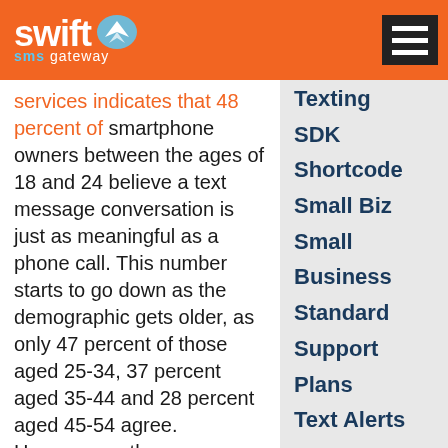Swift SMS Gateway
services indicates that 48 percent of smartphone owners between the ages of 18 and 24 believe a text message conversation is just as meaningful as a phone call. This number starts to go down as the demographic gets older, as only 47 percent of those aged 25-34, 37 percent aged 35-44 and 28 percent aged 45-54 agree. However, as the younger crowd continues to grow and text messaging becomes a bigger part of adult communication, companies should be cognizant of this data and adjust their text message marketing strategies
Texting
SDK
Shortcode
Small Biz
Small Business
Standard Support Plans
Text Alerts
Text Message Marketing